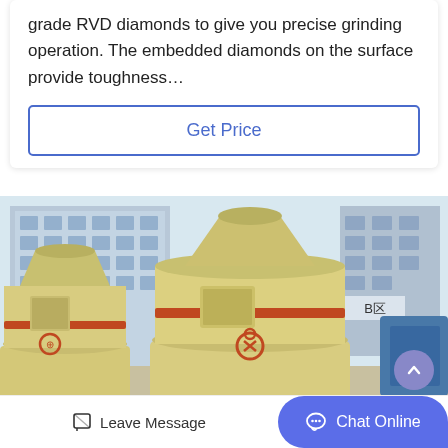grade RVD diamonds to give you precise grinding operation. The embedded diamonds on the surface provide toughness…
Get Price
[Figure (photo): Two large yellow/cream colored industrial grinding mill machines (Raymond mills or similar) sitting outside in a factory yard, with a multi-story factory building visible in the background. The machines are bulky cylindrical tower structures with intake hoppers at the top and various ports and gauges on the body.]
Leave Message
Chat Online